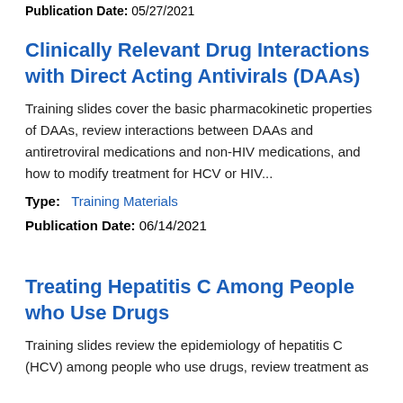Publication Date: 05/27/2021
Clinically Relevant Drug Interactions with Direct Acting Antivirals (DAAs)
Training slides cover the basic pharmacokinetic properties of DAAs, review interactions between DAAs and antiretroviral medications and non-HIV medications, and how to modify treatment for HCV or HIV...
Type:  Training Materials
Publication Date: 06/14/2021
Treating Hepatitis C Among People who Use Drugs
Training slides review the epidemiology of hepatitis C (HCV) among people who use drugs, review treatment as